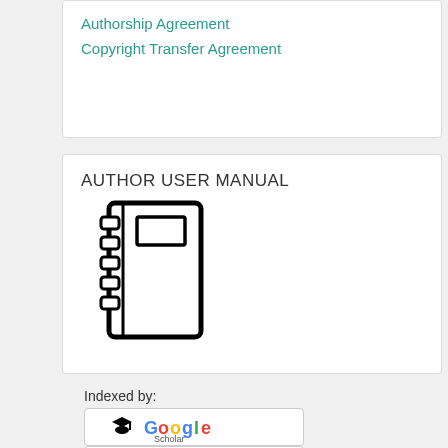Authorship Agreement
Copyright Transfer Agreement
AUTHOR USER MANUAL
[Figure (illustration): Icon of a spiral-bound notebook with a label tab on the cover]
Indexed by:
[Figure (logo): Google Scholar logo with graduation cap icon]
[Figure (logo): Partial logo image at bottom (indexing service)]